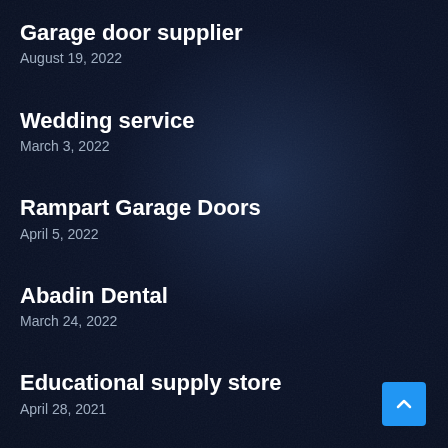Garage door supplier
August 19, 2022
Wedding service
March 3, 2022
Rampart Garage Doors
April 5, 2022
Abadin Dental
March 24, 2022
Educational supply store
April 28, 2021